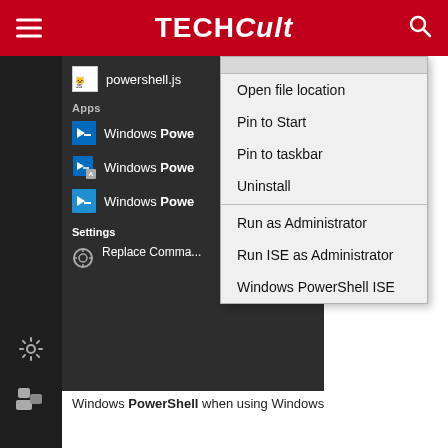[Figure (screenshot): TechCult website header with red background, hamburger menu on left, TechCult logo in center (TECH in bold, Cult in italic bold), search icon on right]
[Figure (screenshot): Windows 10 Start menu showing PowerShell search results with a right-click context menu open. Context menu shows: Open file location, Pin to Start, Pin to taskbar, Uninstall, Run as Administrator, Run ISE as Administrator, Windows PowerShell ISE. Start menu shows powershell.js file, Apps section with three Windows PowerShell entries, Settings section with Replace Command Prompt setting, and bottom shows Replace Command Prompt with Windows PowerShell when using Windows.]